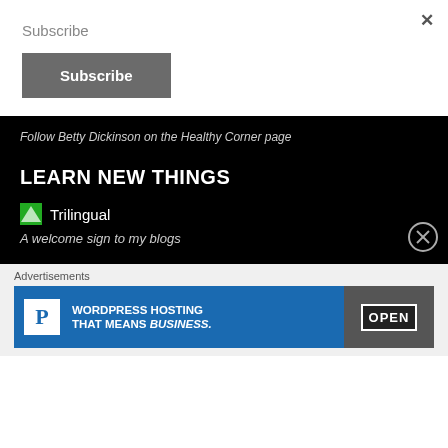×
Subscribe
Subscribe
Follow Betty Dickinson on the Healthy Corner page
LEARN NEW THINGS
Trilingual
A welcome sign to my blogs
Advertisements
[Figure (screenshot): WordPress Hosting That Means Business advertisement banner with OPEN sign photo on right]